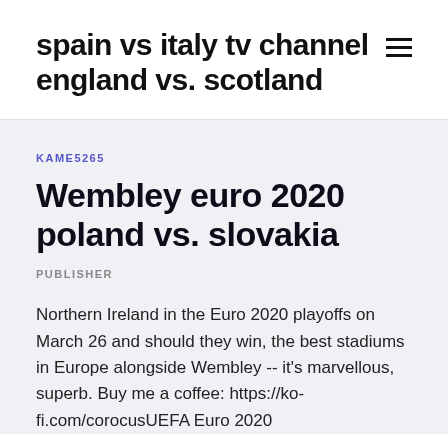spain vs italy tv channel england vs. scotland
KAME5265
Wembley euro 2020 poland vs. slovakia
PUBLISHER
Northern Ireland in the Euro 2020 playoffs on March 26 and should they win, the best stadiums in Europe alongside Wembley -- it's marvellous, superb. Buy me a coffee: https://ko-fi.com/corocusUEFA Euro 2020